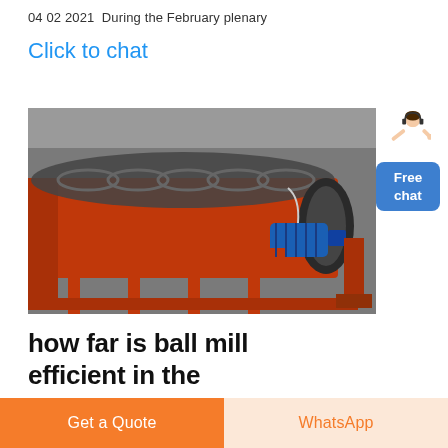04 02 2021  During the February plenary
Click to chat
[Figure (photo): Large red industrial spiral classifier / screw conveyor machine in a factory setting, with a blue electric motor mounted on the right end.]
[Figure (illustration): Customer service representative figure with Free chat button widget on the right side]
how far is ball mill efficient in the
Get a Quote
WhatsApp